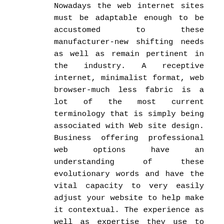Nowadays the web internet sites must be adaptable enough to be accustomed to these manufacturer-new shifting needs as well as remain pertinent in the industry. A receptive internet, minimalist format, web browser-much less fabric is a lot of the most current terminology that is simply being associated with Web site design. Business offering professional web options have an understanding of these evolutionary words and have the vital capacity to very easily adjust your website to help make it contextual. The experience as well as expertise they use to further improve your internet site using ideal material, design and modern day technological innovation can revenue your support.
Online content is king. Substance will be the speech of your respective service's web site. Therefore, it is definitely crucial to have premium quality and also correct online content to bring in the eye of the focuses on. A Specific Website design Company is familiar with the condition of completing correct research for getting